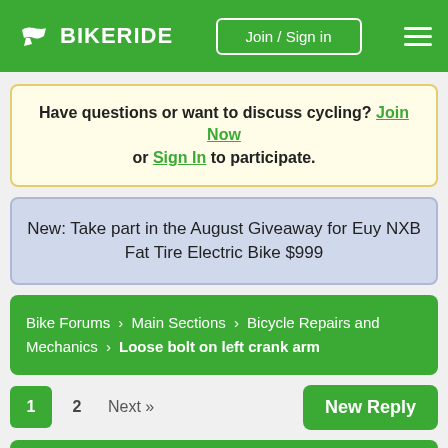BIKERIDE — Join / Sign in
Have questions or want to discuss cycling? Join Now or Sign In to participate.
New: Take part in the August Giveaway for Euy NXB Fat Tire Electric Bike $999
Bike Forums › Main Sections › Bicycle Repairs and Mechanics › Loose bolt on left crank arm
1  2  Next»  New Reply
Loose bolt on left crank arm